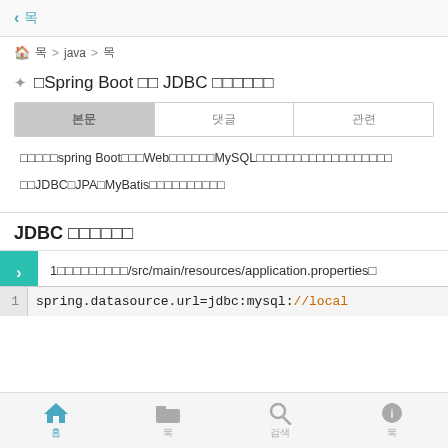< 목
홈목 > java > 목
✦ □Spring Boot □□ JDBC □□□□□□
| 본문 | 댓글 | 관련 |
| --- | --- | --- |
□□□□□spring Boot□□□Web□□□□□□MySQL□□□□□□□□□□□□□□□□□□
□□JDBC□JPA□MyBatis□□□□□□□□□□
JDBC □□□□□□
1□□□□□□□□□/src/main/resources/application.properties□
1  spring.datasource.url=jdbc:mysql://local
홈  목  검색  목